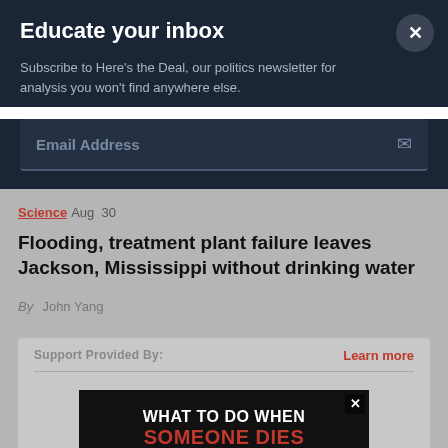Educate your inbox
Subscribe to Here's the Deal, our politics newsletter for analysis you won't find anywhere else.
Email Address
Science  Aug  30
Flooding, treatment plant failure leaves Jackson, Mississippi without drinking water
By  John Yang
Support Provided By:
Learn more
[Figure (screenshot): Advertisement banner reading 'WHAT TO DO WHEN SOMEONE DIES' with white and red text on dark background]